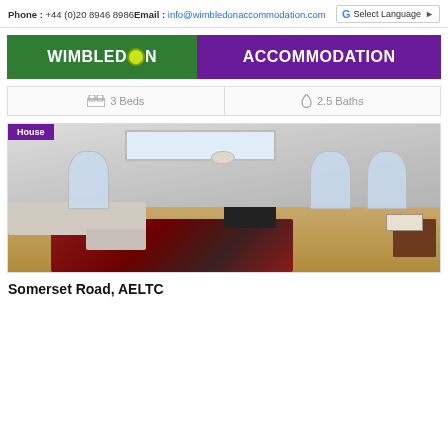Phone : +44 (0)20 8946 8986   Email : info@wimbledonaccommodation.com   Select Language
[Figure (logo): Wimbledon Accommodation logo banner with green and purple sections]
3 Beds   2.5 Baths
[Figure (photo): Interior photo of a spacious living room with arched windows, skylight, hardwood floor, and red rug, labeled House]
Somerset Road, AELTC